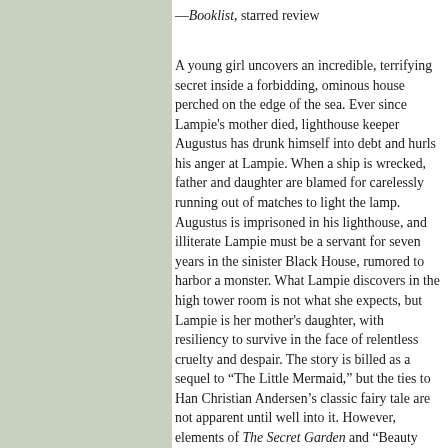—Booklist, starred review
A young girl uncovers an incredible, terrifying secret inside a forbidding, ominous house perched on the edge of the sea. Ever since Lampie's mother died, lighthouse keeper Augustus has drunk himself into debt and hurls his anger at Lampie. When a ship is wrecked, father and daughter are blamed for carelessly running out of matches to light the lamp. Augustus is imprisoned in his lighthouse, and illiterate Lampie must be a servant for seven years in the sinister Black House, rumored to harbor a monster. What Lampie discovers in the high tower room is not what she expects, but Lampie is her mother's daughter, with resiliency to survive in the face of relentless cruelty and despair. The story is billed as a sequel to “The Little Mermaid,” but the ties to Han Christian Andersen’s classic fairy tale are not apparent until well into it. However, elements of The Secret Garden and “Beauty and the Beast” are evident throughout, enticing readers hungry for new yet classic-feeling books. Translated